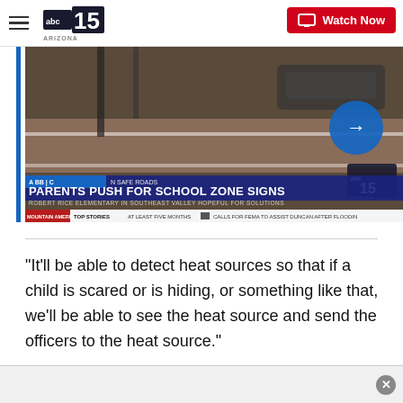abc15 ARIZONA | Watch Now
[Figure (screenshot): ABC15 Arizona news broadcast screenshot showing 'PARENTS PUSH FOR SCHOOL ZONE SIGNS' with subtitle 'ROBERT RICE ELEMENTARY IN SOUTHEAST VALLEY HOPEFUL FOR SOLUTIONS' and ticker 'TOP STORIES  AT LEAST FIVE MONTHS  CALLS FOR FEMA TO ASSIST DUNCAN AFTER FLOODING']
"It'll be able to detect heat sources so that if a child is scared or is hiding, or something like that, we'll be able to see the heat source and send the officers to the heat source."